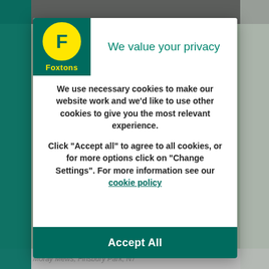[Figure (logo): Foxtons logo: green square background with yellow circular F logo and Foxtons text in yellow]
We value your privacy
We use necessary cookies to make our website work and we'd like to use other cookies to give you the most relevant experience.
Click “Accept all” to agree to all cookies, or for more options click on “Change Settings”. For more information see our cookie policy
Accept All